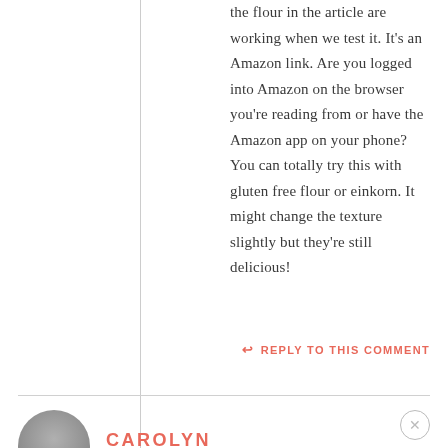the flour in the article are working when we test it. It's an Amazon link. Are you logged into Amazon on the browser you're reading from or have the Amazon app on your phone? You can totally try this with gluten free flour or einkorn. It might change the texture slightly but they're still delicious!
↩ REPLY TO THIS COMMENT
CAROLYN